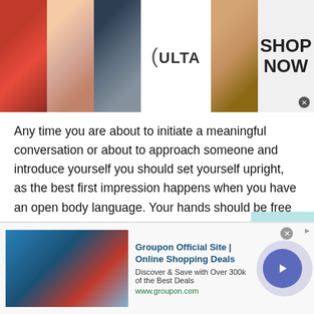[Figure (other): Top banner advertisement for Ulta Beauty showing makeup images (lips with red lipstick, makeup brush, eye with heavy liner), Ulta Beauty logo, another eye image, and a 'SHOP NOW' call to action button with close X.]
Any time you are about to initiate a meaningful conversation or about to approach someone and introduce yourself you should set yourself upright, as the best first impression happens when you have an open body language. Your hands should be free and not in your pockets or tied behind your back. Your shoulders should be down and back.
Your smile is actually your opening line. When you smile to Bangladeshi Talk to someone it sorts of warms them
[Figure (other): Bottom advertisement for Groupon Official Site | Online Shopping Deals showing a screenshot of Groupon website with text 'Discover & Save with Over 300k of the Best Deals' and URL www.groupon.com, with a purple circular arrow button on the right side.]